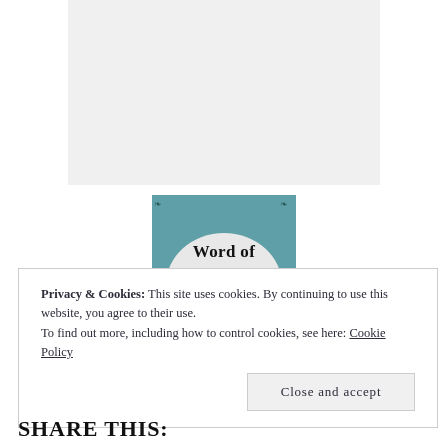[Figure (other): Gray placeholder box at top of page]
[Figure (illustration): Word of - teal decorative banner with arched white area and ornamental corners showing partial text 'Word of']
Privacy & Cookies: This site uses cookies. By continuing to use this website, you agree to their use.
To find out more, including how to control cookies, see here: Cookie Policy
Close and accept
SHARE THIS: